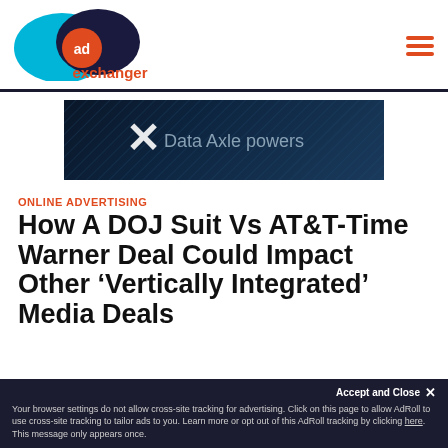[Figure (logo): AdExchanger logo with cyan and dark blue overlapping circles and orange 'ad' text, with 'exchanger' in orange below]
[Figure (photo): Data Axle powers advertisement banner — dark blue background with an X mark and 'Data Axle powers' text]
ONLINE ADVERTISING
How A DOJ Suit Vs AT&T-Time Warner Deal Could Impact Other ‘Vertically Integrated’ Media Deals
Accept and Close ×
Your browser settings do not allow cross-site tracking for advertising. Click on this page to allow AdRoll to use cross-site tracking to tailor ads to you. Learn more or opt out of this AdRoll tracking by clicking here. This message only appears once.